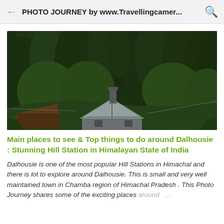PHOTO JOURNEY by www.Travellingcamer...
[Figure (photo): Photo of a hillside cottage/cabin with triangular roof and chimney, surrounded by dense dark green tall coniferous trees in mountains, taken from a distance. Dark moody forest setting.]
Main places to see & Top things to do around Dalhousie : Stunning Hill Station in Himalayan State of India
Dalhousie is one of the most popular Hill Stations in Himachal and there is lot to explore around Dalhousie. This is small and very well maintained town in Chamba region of Himachal Pradesh . This Photo Journey shares some of the exciting places around ...